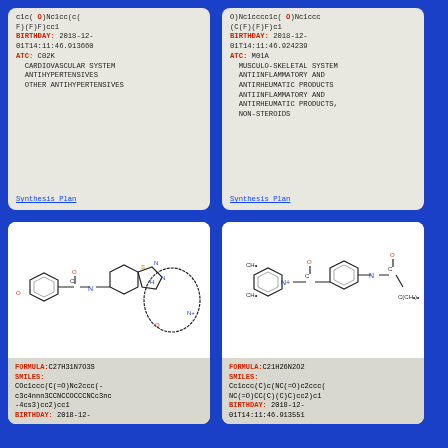c1c( O)Nc1cc(c(F)(F)F)cc1 BIRTHDAY: 2018-12-01T14:11:46.913660 ATC: C02K CARDIOVASCULAR SYSTEM ANTIHYPERTENSIVES OTHER ANTIHYPERTENSIVES Synthesis Plan
O)Nc1cccc1c( O)Nc1ccc(C(F)(F)F)c1 BIRTHDAY: 2018-12-01T14:11:46.924239 ATC: M01A MUSCULO-SKELETAL SYSTEM ANTIINFLAMMATORY AND ANTIRHEUMATIC PRODUCTS ANTIINFLAMMATORY AND ANTIRHEUMATIC PRODUCTS, NON-STEROIDS Synthesis Plan
[Figure (illustration): Chemical structure of compound with formula C27H31N7O3S — complex macrocyclic molecule with thiazole ring, aromatic methoxy group, and nitrogen-containing ring system]
FORMULA:C27H31N7O3S SMILES: COc1ccc(C(=O)Nc2ccc(-c3c4nnn3CCNCCOCCCNCc3nc-4cs3)cc2)cc1 BIRTHDAY: 2018-12-
[Figure (illustration): Chemical structure of compound with formula C21H26N2O2 — molecule with two aromatic rings, methyl substituents, amide linkages, and tert-butyl group]
FORMULA:C21H26N2O2 SMILES: Cc1ccc(C)c(NC(=O)c2ccc(NC(=O)CC(C)(C)C)cc2)c1 BIRTHDAY: 2018-12-01T14:11:46.913551